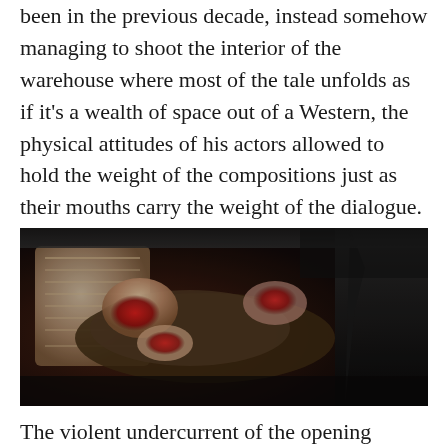been in the previous decade, instead somehow managing to shoot the interior of the warehouse where most of the tale unfolds as if it’s a wealth of space out of a Western, the physical attitudes of his actors allowed to hold the weight of the compositions just as their mouths carry the weight of the dialogue.
[Figure (photo): A film still showing a bloodied man in a suit leaning against a wall or surface, with another dark-suited figure visible at right. Significant blood visible on the injured man's face and hands.]
The violent undercurrent of the opening scene’s jocularity – “I changed my mind, shoot this piece of shit.” – is fully exposed after the